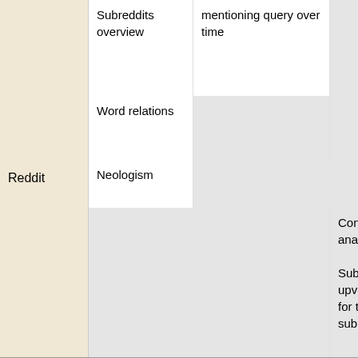| Reddit | Subreddits overview
Word relations
Neologism | mentioning query over time | Content analysis
Subset: most upvoted posts for the top subreddits |
| Tumblr | Histogram
Tags overview and relations
Word | Frequency of posts over time
Tags over time |  |